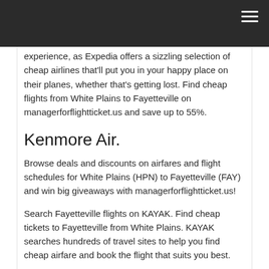experience, as Expedia offers a sizzling selection of cheap airlines that'll put you in your happy place on their planes, whether that's getting lost. Find cheap flights from White Plains to Fayetteville on managerforflightticket.us and save up to 55%.
Kenmore Air.
Browse deals and discounts on airfares and flight schedules for White Plains (HPN) to Fayetteville (FAY) and win big giveaways with managerforflightticket.us!
Search Fayetteville flights on KAYAK. Find cheap tickets to Fayetteville from White Plains. KAYAK searches hundreds of travel sites to help you find cheap airfare and book the flight that suits you best.